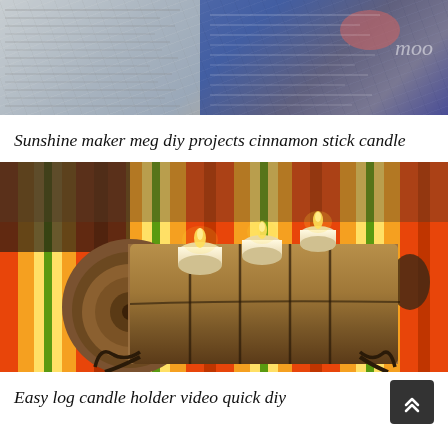[Figure (photo): Top portion of a webpage showing newspaper/text background image with blue and warm tones]
Sunshine maker meg diy projects cinnamon stick candle
[Figure (photo): A log used as a candle holder with three lit tea-light candles on top, sitting on a metal stand on a colorful striped orange/yellow/green tablecloth]
Easy log candle holder video quick diy